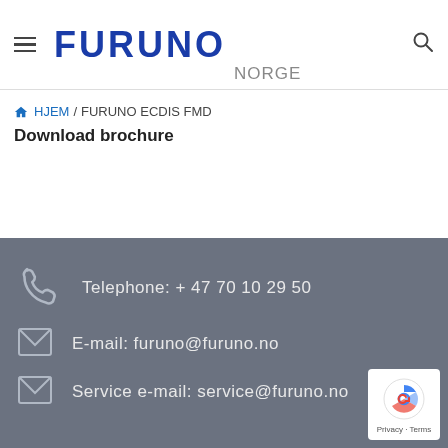FURUNO NORGE
HJEM / FURUNO ECDIS FMD
Download brochure
Telephone: + 47 70 10 29 50
E-mail: furuno@furuno.no
Service e-mail: service@furuno.no